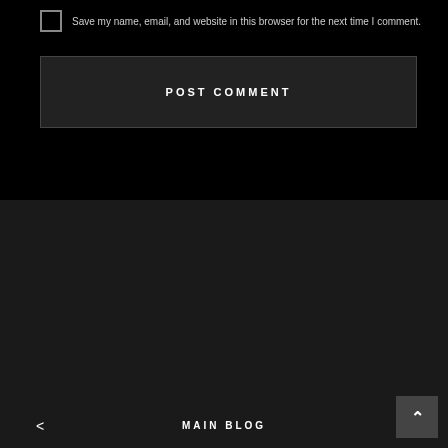Save my name, email, and website in this browser for the next time I comment.
POST COMMENT
MAIN BLOG
EXPLORE
About
Contact